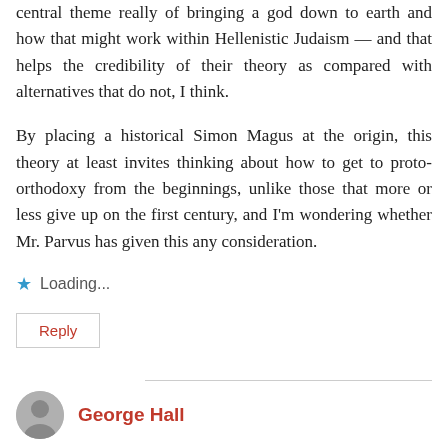central theme really of bringing a god down to earth and how that might work within Hellenistic Judaism — and that helps the credibility of their theory as compared with alternatives that do not, I think.
By placing a historical Simon Magus at the origin, this theory at least invites thinking about how to get to proto-orthodoxy from the beginnings, unlike those that more or less give up on the first century, and I'm wondering whether Mr. Parvus has given this any consideration.
Loading...
Reply
George Hall